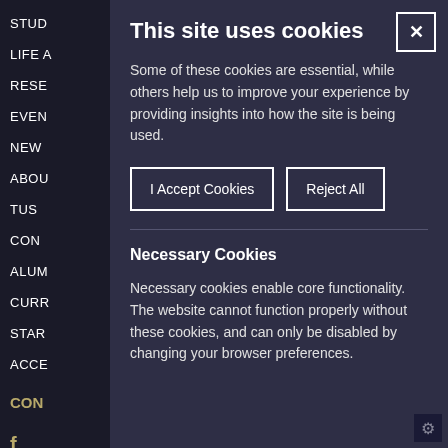This site uses cookies
Some of these cookies are essential, while others help us to improve your experience by providing insights into how the site is being used.
I Accept Cookies
Reject All
Necessary Cookies
Necessary cookies enable core functionality. The website cannot function properly without these cookies, and can only be disabled by changing your browser preferences.